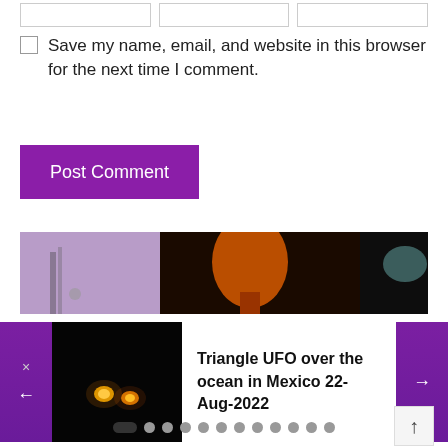[Figure (screenshot): Three empty form input fields at the top of a comment form]
Save my name, email, and website in this browser for the next time I comment.
[Figure (screenshot): Purple 'Post Comment' button]
[Figure (photo): Banner image showing person in purple shirt with orange microphone against dark background]
[Figure (screenshot): Slideshow widget with left/right purple navigation arrows, thumbnail of Triangle UFO image]
Triangle UFO over the ocean in Mexico 22-Aug-2022
[Figure (infographic): Pagination dots with first dot active (pill shape), and scroll-to-top arrow button]